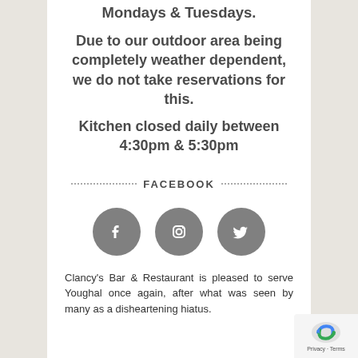Mondays & Tuesdays.
Due to our outdoor area being completely weather dependent, we do not take reservations for this.
Kitchen closed daily between 4:30pm & 5:30pm
FACEBOOK
[Figure (illustration): Three social media icons in grey circles: Facebook, Instagram, Twitter]
Clancy's Bar & Restaurant is pleased to serve Youghal once again, after what was seen by many as a disheartening hiatus.